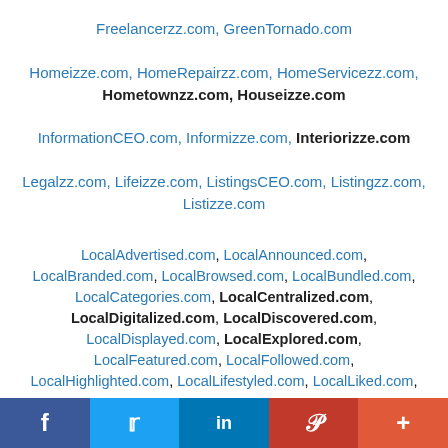Freelancerzz.com, GreenTornado.com
Homeizze.com, HomeRepairzz.com, HomeServicezz.com, Hometownzz.com, Houseizze.com
InformationCEO.com, Informizze.com, Interiorizze.com
Legalzz.com, Lifeizze.com, ListingsCEO.com, Listingzz.com, Listizze.com
LocalAdvertised.com, LocalAnnounced.com, LocalBranded.com, LocalBrowsed.com, LocalBundled.com, LocalCategories.com, LocalCentralized.com, LocalDigitalized.com, LocalDiscovered.com, LocalDisplayed.com, LocalExplored.com, LocalFeatured.com, LocalFollowed.com, LocalHighlighted.com, LocalLifestyled.com, LocalLiked.com
f  ⬤  in  P  +